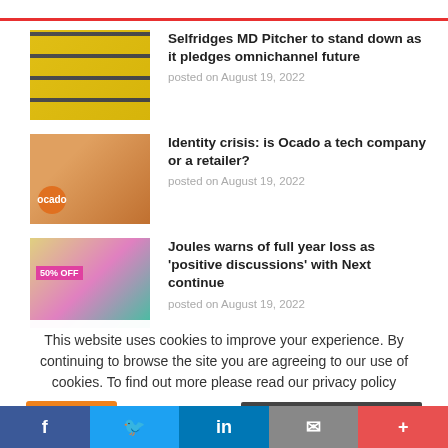Selfridges MD Pitcher to stand down as it pledges omnichannel future
posted on August 19, 2022
Identity crisis: is Ocado a tech company or a retailer?
posted on August 19, 2022
Joules warns of full year loss as ‘positive discussions’ with Next continue
posted on August 19, 2022
This website uses cookies to improve your experience. By continuing to browse the site you are agreeing to our use of cookies. To find out more please read our privacy policy
Accept   - To find out more:   Read our updated privacy